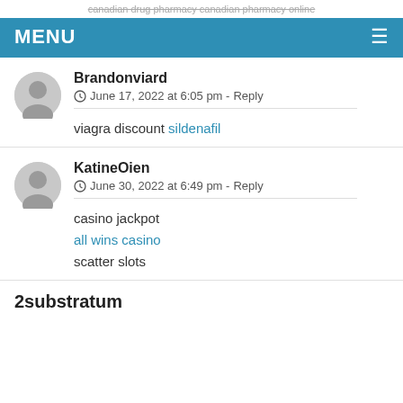canadian drug pharmacy canadian pharmacy online
MENU
Brandonviard
June 17, 2022 at 6:05 pm - Reply
viagra discount sildenafil
KatineOien
June 30, 2022 at 6:49 pm - Reply
casino jackpot
all wins casino
scatter slots
2substratum